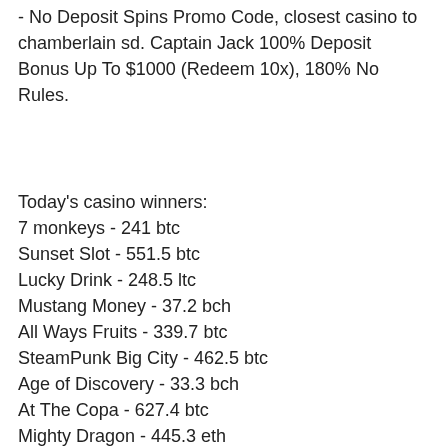- No Deposit Spins Promo Code, closest casino to chamberlain sd. Captain Jack 100% Deposit Bonus Up To $1000 (Redeem 10x), 180% No Rules.
Today's casino winners:
7 monkeys - 241 btc
Sunset Slot - 551.5 btc
Lucky Drink - 248.5 ltc
Mustang Money - 37.2 bch
All Ways Fruits - 339.7 btc
SteamPunk Big City - 462.5 btc
Age of Discovery - 33.3 bch
At The Copa - 627.4 btc
Mighty Dragon - 445.3 eth
Aztec Treasures - 399 usdt
King Tiger - 87.5 usdt
Kobushi - 265.9 dog
Triple Diamond - 381.9 eth
Secrets of Atlantis - 511.4 eth
Golden Lamp - 52.1 bch